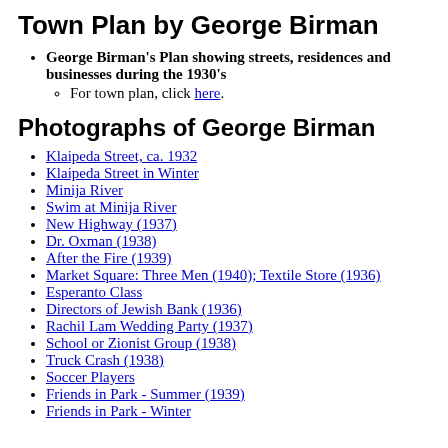Town Plan by George Birman
George Birman's Plan showing streets, residences and businesses during the 1930's
For town plan, click here.
Photographs of George Birman
Klaipeda Street, ca. 1932
Klaipeda Street in Winter
Minija River
Swim at Minija River
New Highway (1937)
Dr. Oxman (1938)
After the Fire (1939)
Market Square: Three Men (1940); Textile Store (1936)
Esperanto Class
Directors of Jewish Bank (1936)
Rachil Lam Wedding Party (1937)
School or Zionist Group (1938)
Truck Crash (1938)
Soccer Players
Friends in Park - Summer (1939)
Friends in Park - Winter